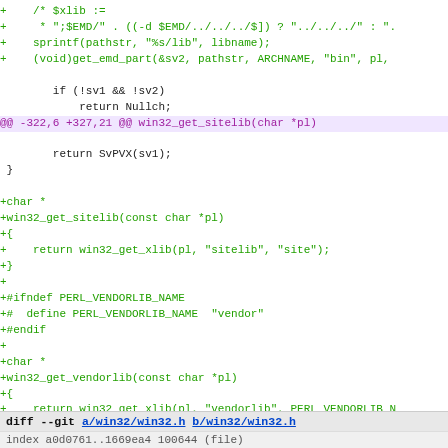diff code fragment showing git diff of win32.c and win32.h files with added lines for win32_get_sitelib and win32_get_vendorlib functions, hunk header @@ -322,6 +327,21 @@ win32_get_sitelib(char *pl), and diff footer for win32/win32.h
diff --git a/win32/win32.h b/win32/win32.h
index a0d0761..1669ea4 100644 (file)